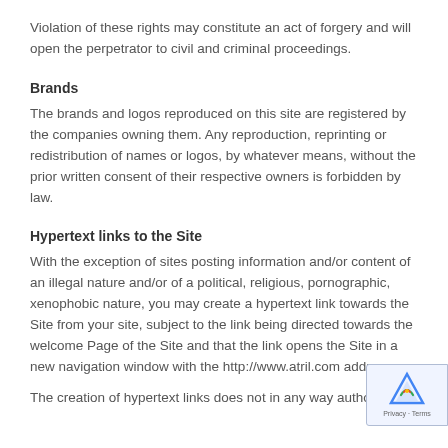Violation of these rights may constitute an act of forgery and will open the perpetrator to civil and criminal proceedings.
Brands
The brands and logos reproduced on this site are registered by the companies owning them. Any reproduction, reprinting or redistribution of names or logos, by whatever means, without the prior written consent of their respective owners is forbidden by law.
Hypertext links to the Site
With the exception of sites posting information and/or content of an illegal nature and/or of a political, religious, pornographic, xenophobic nature, you may create a hypertext link towards the Site from your site, subject to the link being directed towards the welcome Page of the Site and that the link opens the Site in a new navigation window with the http://www.atril.com address.
The creation of hypertext links does not in any way authorize the